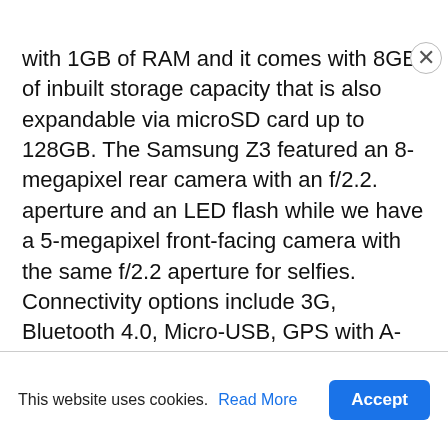with 1GB of RAM and it comes with 8GB of inbuilt storage capacity that is also expandable via microSD card up to 128GB. The Samsung Z3 featured an 8-megapixel rear camera with an f/2.2. aperture and an LED flash while we have a 5-megapixel front-facing camera with the same f/2.2 aperture for selfies. Connectivity options include 3G, Bluetooth 4.0, Micro-USB, GPS with A-GPS and Wi-Fi 802.11 b/g/n with 4G LTE option. It is backed up by a 2600mAh battery with an ultra
This website uses cookies. Read More Accept